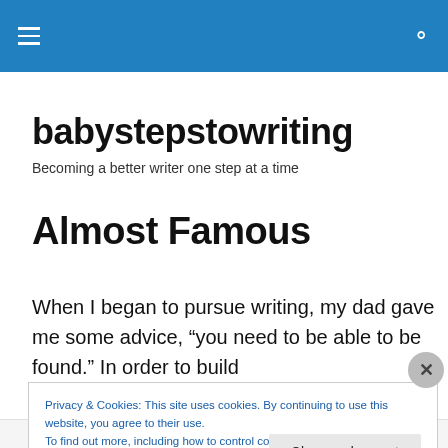babystepstowriting — navigation bar
babystepstowriting
Becoming a better writer one step at a time
Almost Famous
When I began to pursue writing, my dad gave me some advice, “you need to be able to be found.” In order to build
Privacy & Cookies: This site uses cookies. By continuing to use this website, you agree to their use.
To find out more, including how to control cookies, see here: Cookie Policy
Advertisements